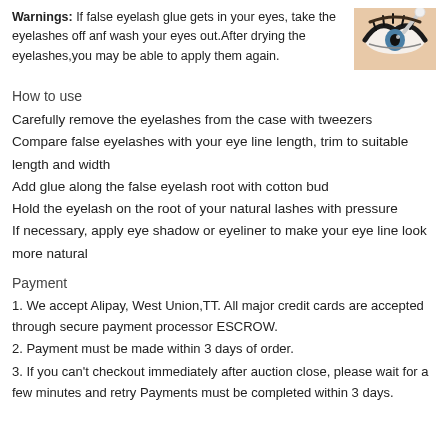Warnings: If false eyelash glue gets in your eyes, take the eyelashes off anf wash your eyes out.After drying the eyelashes,you may be able to apply them again.
[Figure (photo): Close-up photo of a woman's eye with dramatic black eyeliner and false eyelashes, with a cotton swab/applicator visible near the eye.]
How to use
Carefully remove the eyelashes from the case with tweezers
Compare false eyelashes with your eye line length, trim to suitable length and width
Add glue along the false eyelash root with cotton bud
Hold the eyelash on the root of your natural lashes with pressure
If necessary, apply eye shadow or eyeliner to make your eye line look more natural
Payment
1. We accept Alipay, West Union,TT. All major credit cards are accepted through secure payment processor ESCROW.
2. Payment must be made within 3 days of order.
3. If you can't checkout immediately after auction close, please wait for a few minutes and retry Payments must be completed within 3 days.